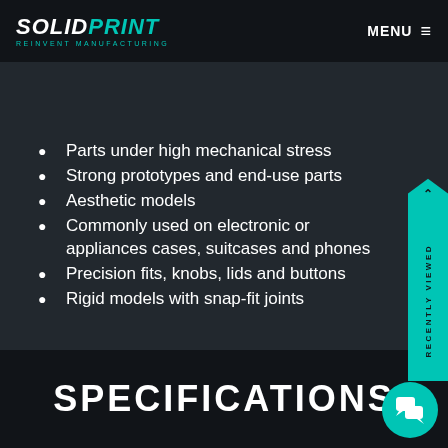SOLIDPRINT REINVENT MANUFACTURING — MENU
Applications
Parts under high mechanical stress
Strong prototypes and end-use parts
Aesthetic models
Commonly used on electronic or appliances cases, suitcases and phones
Precision fits, knobs, lids and buttons
Rigid models with snap-fit joints
SPECIFICATIONS